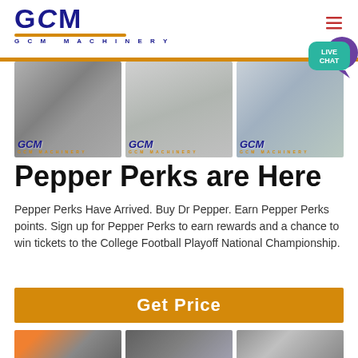[Figure (logo): GCM Machinery logo — bold navy blue 'GCM' lettering with gold underline arc and 'G C M  MACHINERY' text below]
[Figure (photo): Three photos of mining/crushing machinery and equipment with GCM Machinery watermark on each]
Pepper Perks are Here
Pepper Perks Have Arrived. Buy Dr Pepper. Earn Pepper Perks points. Sign up for Pepper Perks to earn rewards and a chance to win tickets to the College Football Playoff National Championship.
[Figure (other): Get Price button — orange rectangle with white bold text 'Get Price']
[Figure (photo): Three partial photos of industrial/crushing machinery at the bottom of the page]